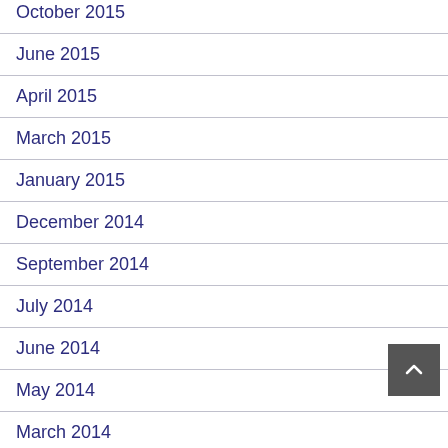October 2015
June 2015
April 2015
March 2015
January 2015
December 2014
September 2014
July 2014
June 2014
May 2014
March 2014